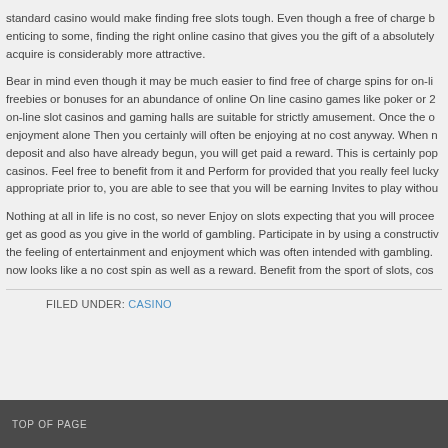standard casino would make finding free slots tough. Even though a free of charge b enticing to some, finding the right online casino that gives you the gift of a absolutely acquire is considerably more attractive.
Bear in mind even though it may be much easier to find free of charge spins for on-li freebies or bonuses for an abundance of online On line casino games like poker or 2 on-line slot casinos and gaming halls are suitable for strictly amusement. Once the o enjoyment alone Then you certainly will often be enjoying at no cost anyway. When n deposit and also have already begun, you will get paid a reward. This is certainly pop casinos. Feel free to benefit from it and Perform for provided that you really feel lucky appropriate prior to, you are able to see that you will be earning Invites to play withou
Nothing at all in life is no cost, so never Enjoy on slots expecting that you will procee get as good as you give in the world of gambling. Participate in by using a constructiv the feeling of entertainment and enjoyment which was often intended with gambling. now looks like a no cost spin as well as a reward. Benefit from the sport of slots, cos
FILED UNDER: CASINO
TOP OF PAGE